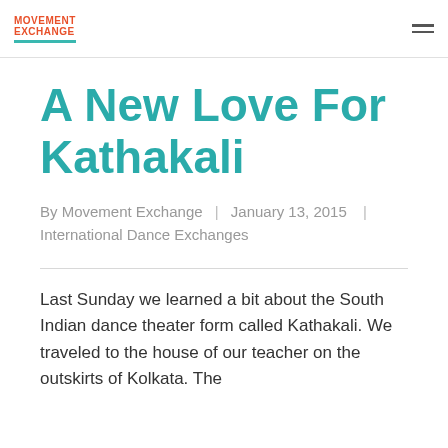MOVEMENT EXCHANGE
A New Love For Kathakali
By Movement Exchange | January 13, 2015 | International Dance Exchanges
Last Sunday we learned a bit about the South Indian dance theater form called Kathakali. We traveled to the house of our teacher on the outskirts of Kolkata. The